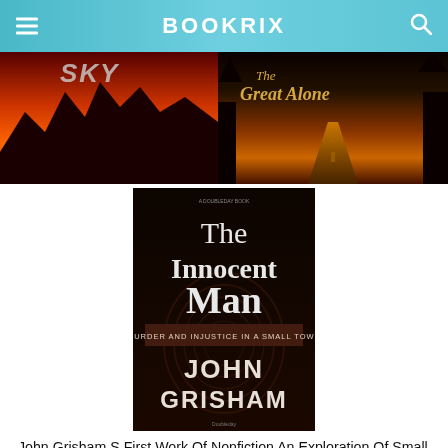BOOKRIX
[Figure (photo): Book covers strip showing two books: 'Sky' with red mountain landscape on left, 'The Great Alone' with sunset road scene on right]
[Figure (photo): Book cover of 'The Innocent Man: Murder and Injustice in a Small Town' by John Grisham — dark background with fingerprint imagery]
John Grisham S First Work Of Nonfiction An Exploration Of Small Town Justice Gone Terribly Awry Is His Most Extraordinary Innocent Man John Grisham Innocent